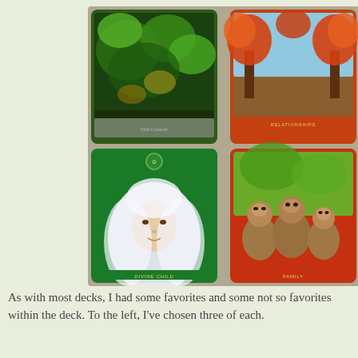[Figure (photo): Four tarot/oracle cards arranged in a 2x2 grid. Top-left: a lush green forest scene card. Top-right: a card with two autumn trees forming a heart shape, labeled 'RELATIONSHIPS'. Bottom-left: a card with a glowing female face with white flowing hair, labeled 'DIVINE CHILD'. Bottom-right: a card with three monkeys sitting together, labeled 'FAMILY'.]
As with most decks, I had some favorites and some not so favorites within the deck. To the left, I've chosen three of each.